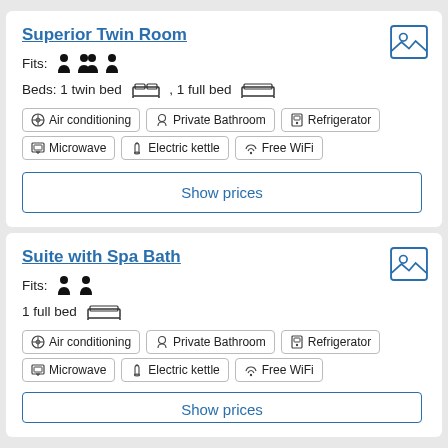Superior Twin Room
Fits: (3 person icons)
Beds: 1 twin bed , 1 full bed
Air conditioning | Private Bathroom | Refrigerator | Microwave | Electric kettle | Free WiFi
Show prices
Suite with Spa Bath
Fits: (2 person icons)
1 full bed
Air conditioning | Private Bathroom | Refrigerator | Microwave | Electric kettle | Free WiFi
Show prices